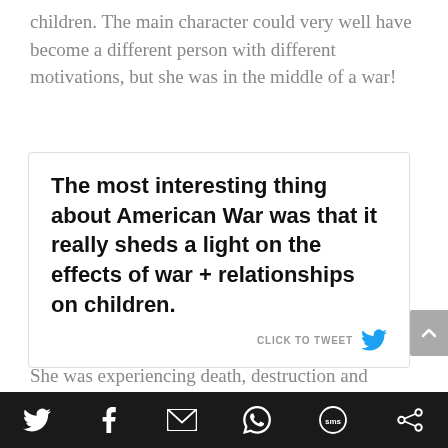children. The main character could very well have become a different person with different motivations, but she was in the middle of a war!
The most interesting thing about American War was that it really sheds a light on the effects of war + relationships on children. CLICK TO TWEET
She was experiencing death, destruction and displacement wich is probably going to cause
Social share icons: Twitter, Facebook, Email, WhatsApp, SMS, Other